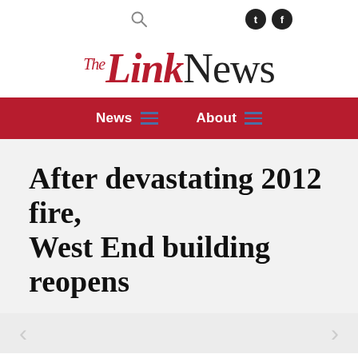The Link News — navigation bar with search, tumblr, and facebook icons; News and About menu items
After devastating 2012 fire, West End building reopens
Published by linknews on October 26, 2020